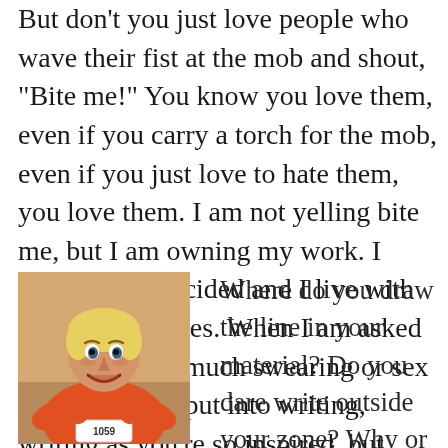But don't you just love people who wave their fist at the mob and shout, "Bite me!" You know you love them, even if you carry a torch for the mob, even if you just love to hate them, you love them. I am not yelling bite me, but I am owning my work. I consciously decided and I live with the consequences. When I am asked by others how much swearing or sex is too much to put into writing, I say: Write as you're so inspired, but editing with your conscience. If you agree with that, well, you can just bite me.
[Figure (photo): A smiling woman with short blonde hair wearing an orange/red sleeveless athletic top with a race bib numbered 1059, appearing to be at a running event, taking a selfie.]
Where do you draw the line in your material? Do you dare write outside your zone? Why or why not? How far do you go? And if you're going to tell me not to write about sex because it is against your religion, please fill me in on what religi...